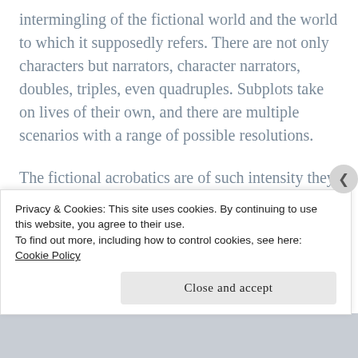intermingling of the fictional world and the world to which it supposedly refers. There are not only characters but narrators, character narrators, doubles, triples, even quadruples. Subplots take on lives of their own, and there are multiple scenarios with a range of possible resolutions.
The fictional acrobatics are of such intensity they frequently if no doubt intentionally disrupt what suspension of disbelief the reader has managed to maintain, but they also
Privacy & Cookies: This site uses cookies. By continuing to use this website, you agree to their use.
To find out more, including how to control cookies, see here: Cookie Policy
Close and accept